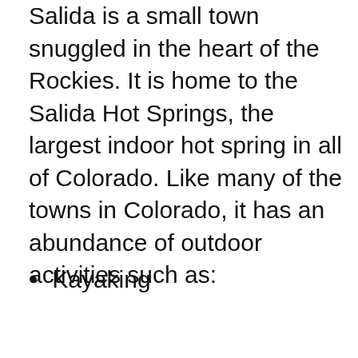Salida is a small town snuggled in the heart of the Rockies. It is home to the Salida Hot Springs, the largest indoor hot spring in all of Colorado. Like many of the towns in Colorado, it has an abundance of outdoor activities such as:
Kayaking